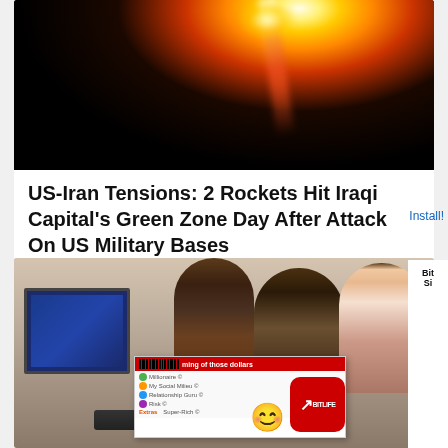[Figure (photo): Night photo of a rocket launch with bright white/orange light trail against dark sky]
US-Iran Tensions: 2 Rockets Hit Iraqi Capital's Green Zone Day After Attack On US Military Bases
[Figure (photo): Group of young men gathered around a computer monitor in an office setting; an advertisement overlay shows a BitLife app ad with smiley face emoji]
Bit
Si...
Install!